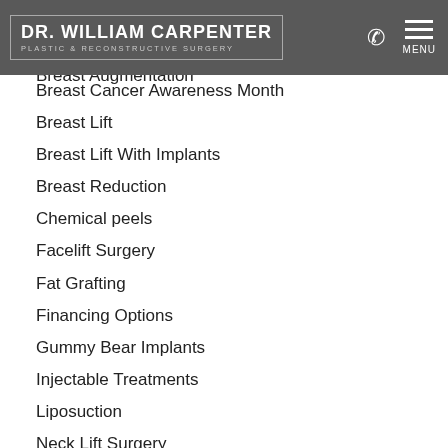BOTOX® Cosmetic
Breast Asymmetry
[Figure (logo): Dr. William Carpenter Plastic & Reconstructive Surgery logo with navigation bar including phone icon and MENU button]
Breast Augmentation
Breast Cancer Awareness Month
Breast Lift
Breast Lift With Implants
Breast Reduction
Chemical peels
Facelift Surgery
Fat Grafting
Financing Options
Gummy Bear Implants
Injectable Treatments
Liposuction
Neck Lift Surgery
Rhinoplasty
Saline Implants
Select a Board-Certified Plastic Surgeon
Silicone Implants